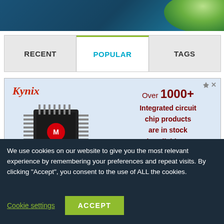[Figure (screenshot): Top banner with teal/blue background and green organic shapes in top right corner]
[Figure (screenshot): Tab navigation with three tabs: RECENT, POPULAR (active, teal text, green top border), TAGS]
[Figure (other): Kynix advertisement banner showing a Microchip IC chip image on left, Kynix logo in red italic on top left, and text 'Over 1000+ Integrated circuit chip products are in stock and available now.' in dark red on right side]
We use cookies on our website to give you the most relevant experience by remembering your preferences and repeat visits. By clicking “Accept”, you consent to the use of ALL the cookies.
Cookie settings
ACCEPT